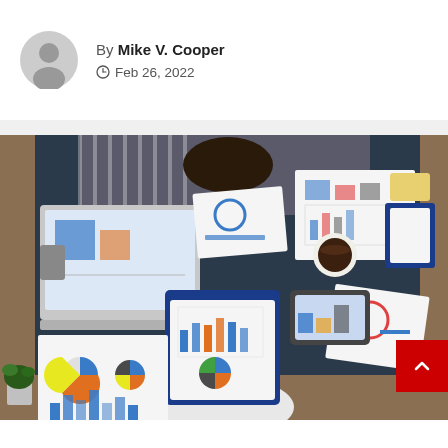By Mike V. Cooper
Feb 26, 2022
[Figure (photo): Overhead view of two business people at a dark desk covered with laptops, clipboards, printed charts and graphs, a coffee cup, tablet, and plant]